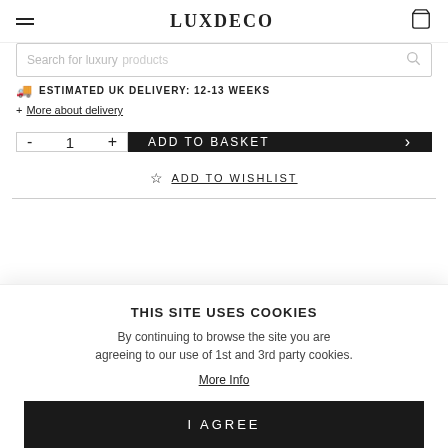LUXDECO
Search for luxury products
ESTIMATED UK DELIVERY: 12-13 WEEKS
+ More about delivery
- 1 + ADD TO BASKET >
☆ ADD TO WISHLIST
THIS SITE USES COOKIES
By continuing to browse the site you are agreeing to our use of 1st and 3rd party cookies.
More Info
I AGREE